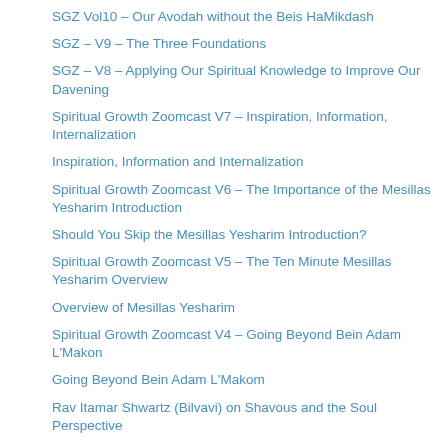SGZ Vol10 – Our Avodah without the Beis HaMikdash
SGZ – V9 – The Three Foundations
SGZ – V8 – Applying Our Spiritual Knowledge to Improve Our Davening
Spiritual Growth Zoomcast V7 – Inspiration, Information, Internalization
Inspiration, Information and Internalization
Spiritual Growth Zoomcast V6 – The Importance of the Mesillas Yesharim Introduction
Should You Skip the Mesillas Yesharim Introduction?
Spiritual Growth Zoomcast V5 – The Ten Minute Mesillas Yesharim Overview
Overview of Mesillas Yesharim
Spiritual Growth Zoomcast V4 – Going Beyond Bein Adam L'Makon
Going Beyond Bein Adam L'Makom
Rav Itamar Shwartz (Bilvavi) on Shavous and the Soul Perspective
Is Developing a Deeper Connection to Hashem Worth the Effort?